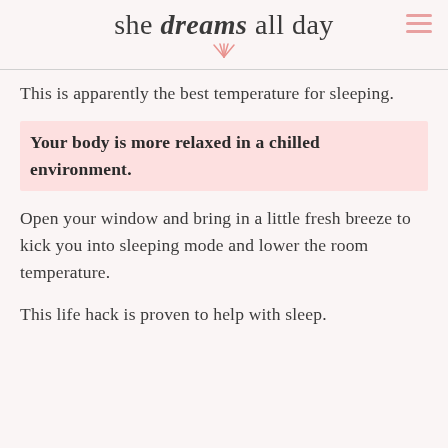she dreams all day
This is apparently the best temperature for sleeping.
Your body is more relaxed in a chilled environment.
Open your window and bring in a little fresh breeze to kick you into sleeping mode and lower the room temperature.
This life hack is proven to help with sleep.